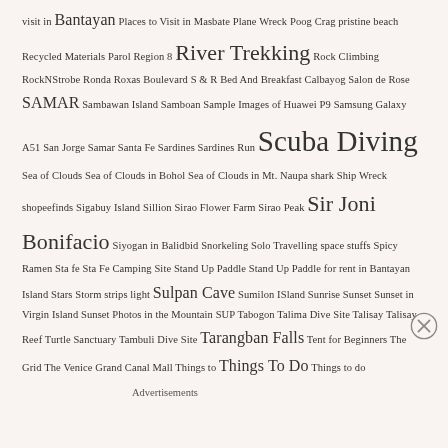visit in Bantayan Places to Visit in Masbate Plane Wreck Poog Crag pristine beach Recycled Materials Parol Region 8 River Trekking Rock Climbing RockNStrobe Ronda Roxas Boulevard S & R Bed And Breakfast Calbayog Salon de Rose SAMAR Sambawan Island Samboan Sample Images of Huawei P9 Samsung Galaxy A51 San Jorge Samar Santa Fe Sardines Sardines Run Scuba Diving Sea of Clouds Sea of Clouds in Bohol Sea of Clouds in Mt. Naupa shark Ship Wreck shopeefinds Sigabuy Island Sillion Sirao Flower Farm Sirao Peak Sir Joni Bonifacio Siyogan in Balidbid Snorkeling Solo Travelling space stuffs Spicy Ramen Sta fe Sta Fe Camping Site Stand Up Paddle Stand Up Paddle for rent in Bantayan Island Stars Storm strips light Sulpan Cave Sumilon ISland Sunrise Sunset Sunset in Virgin Island Sunset Photos in the Mountain SUP Tabogon Talima Dive Site Talisay Talisay Reef Turtle Sanctuary Tambuli Dive Site Tarangban Falls Tent for Beginners The Grid The Venice Grand Canal Mall Things to Things To Do Things to do
Advertisements